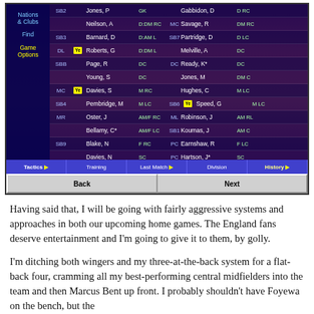[Figure (screenshot): Football Manager style game screenshot showing a squad list with players including Jones P, Neilson A, Barnard D, Roberts G, Page R, Young S, Davies S, Pembridge M, Oster J, Bellamy C*, Blake N, Davies N on left side and Gabbidon D, Savage R, Partridge D, Melville A, Ready K*, Jones M, Hughes C, Speed G, Robinson J, Koumas J, Earnshaw R, Hartson J* on right side. Bottom navigation shows Tactics, Training, Last Match, Division, History tabs. Back and Next buttons at bottom.]
Having said that, I will be going with fairly aggressive systems and approaches in both our upcoming home games. The England fans deserve entertainment and I'm going to give it to them, by golly.
I'm ditching both wingers and my three-at-the-back system for a flat-back four, cramming all my best-performing central midfielders into the team and then Marcus Bent up front. I probably shouldn't have Foyewa on the bench, but the